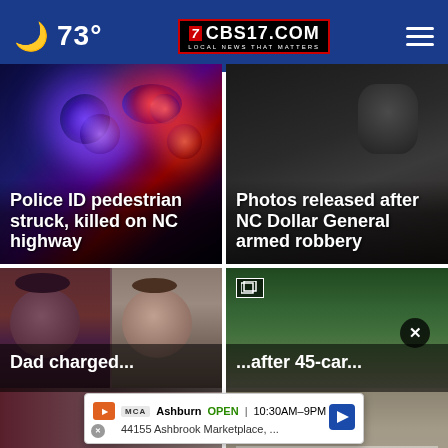🌙 73° | CBS17.COM LOCAL NEWS THAT MATTERS
[Figure (photo): Police car with flashing blue and red lights at night on a highway]
Police ID pedestrian struck, killed on NC highway
[Figure (photo): Dark silhouette of a person, photos released after NC Dollar General armed robbery]
Photos released after NC Dollar General armed robbery
[Figure (photo): Mugshots of two people, a woman with dark hair and a man]
Dad charged...
[Figure (photo): Aerial view of a highway with traffic and green trees, gallery icon visible]
after 45-car...
Ashburn OPEN | 10:30AM–9PM 44155 Ashbrook Marketplace, ...